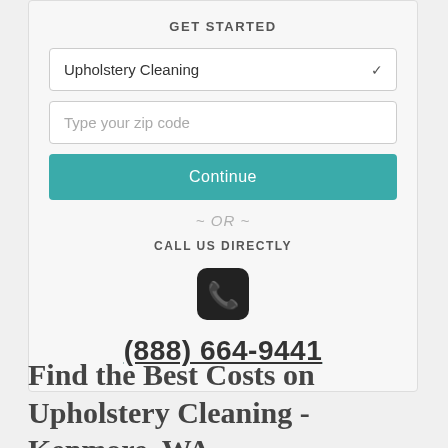GET STARTED
Upholstery Cleaning
Type your zip code
Continue
~ OR ~
CALL US DIRECTLY
(888) 664-9441
Find the Best Costs on Upholstery Cleaning - Kenmore, WA